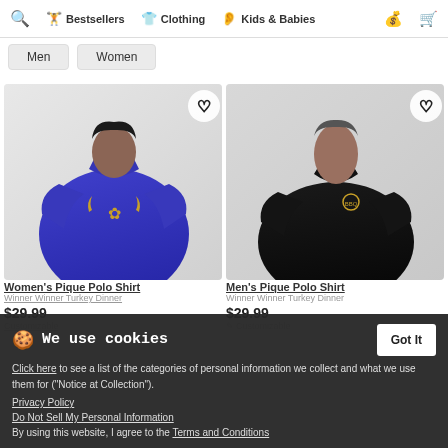Search | Bestsellers | Clothing | Kids & Babies | Cart
Men
Women
[Figure (photo): Woman wearing blue polo shirt with gold laurel wreath emblem]
[Figure (photo): Man wearing black polo shirt with small gold logo]
Women's Pique Polo Shirt
Winner Winner Turkey Dinner
$29.99
Men's Pique Polo Shirt
Winner Winner Turkey Dinner
$29.99
Customizable
We use cookies
Click here to see a list of the categories of personal information we collect and what we use them for ("Notice at Collection").
Privacy Policy
Do Not Sell My Personal Information
By using this website, I agree to the Terms and Conditions